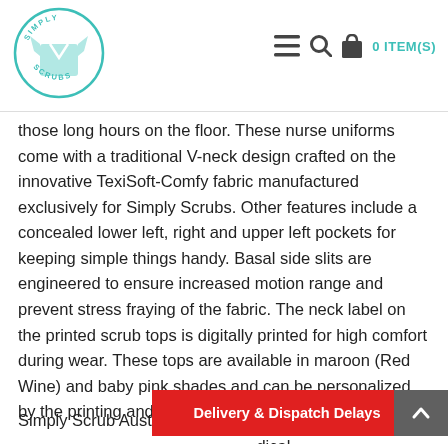Simply Scrubs logo and navigation with 0 ITEM(S)
those long hours on the floor. These nurse uniforms come with a traditional V-neck design crafted on the innovative TexiSoft-Comfy fabric manufactured exclusively for Simply Scrubs. Other features include a concealed lower left, right and upper left pockets for keeping simple things handy. Basal side slits are engineered to ensure increased motion range and prevent stress fraying of the fabric. The neck label on the printed scrub tops is digitally printed for high comfort during wear. These tops are available in maroon (Red Wine) and baby pink shades and can be personalized by the printing and embroidery options.
Simply Scrub Austra... ...dical
[Figure (logo): Simply Scrubs circular logo with a scrub top illustration in teal/mint color, text reading SIMPLY SCRUBS around the circle]
Delivery & Dispatch Delays